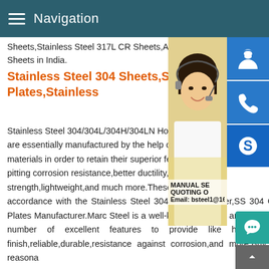Navigation
Sheets,Stainless Steel 317L CR Sheets,A Sheets in India.
Stainless Steel 304 Sheets,S Plates,Stainless
[Figure (photo): Customer service representative woman with headset, smiling, with blue icon buttons for customer support, phone, and Skype on the right side, and overlay text showing MANUAL SE... QUOTING O... Email: bsteel1@163.com]
Stainless Steel 304/304L/304H/304LN Ho are essentially manufactured by the help o materials in order to retain their superior fe pitting corrosion resistance,better ductility, strength,lightweight,and much more.These accordance with the Stainless Steel 304 Plates Supplier,SS 304 Cold Rolled Stainless Steel 304 Plates Manufacturer.Marc Steel is a well-known exporter and supplier of SS 304 Plates which has a number of excellent features to provide like having high tensile strength,flawless finish,reliable,durable,resistance against corrosion,and more.Buy 304 Stainless Steel Plates at reasona